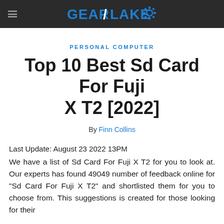GEAR/LAKE
PERSONAL COMPUTER
Top 10 Best Sd Card For Fuji X T2 [2022]
By Finn Collins
Last Update: August 23 2022 13PM
We have a list of Sd Card For Fuji X T2 for you to look at. Our experts has found 49049 number of feedback online for "Sd Card For Fuji X T2" and shortlisted them for you to choose from. This suggestions is created for those looking for their